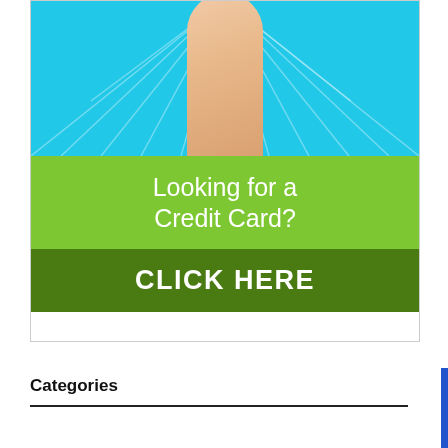[Figure (infographic): Advertisement banner with a cyan/blue radiating background showing a person's arm/leg wearing a compression stocking, green section with text 'Looking for a Credit Card?', and a dark green button with 'CLICK HERE']
Categories